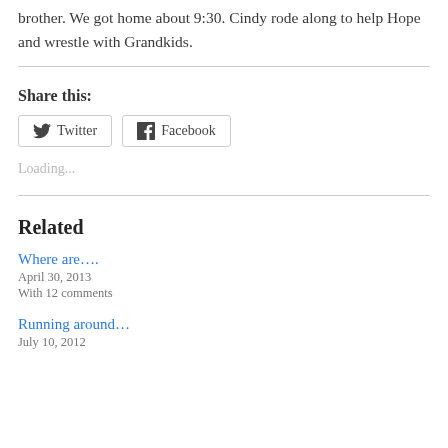brother. We got home about 9:30. Cindy rode along to help Hope and wrestle with Grandkids.
Share this:
[Figure (other): Twitter and Facebook share buttons]
Loading...
Related
Where are….
April 30, 2013
With 12 comments
Running around…
July 10, 2012